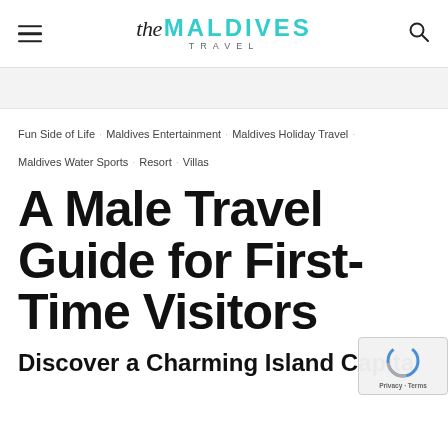the MALDIVES TRAVEL
Fun Side of Life · Maldives Entertainment · Maldives Holiday Travel · Maldives Water Sports · Resort · Villas
A Male Travel Guide for First-Time Visitors
Discover a Charming Island Capital